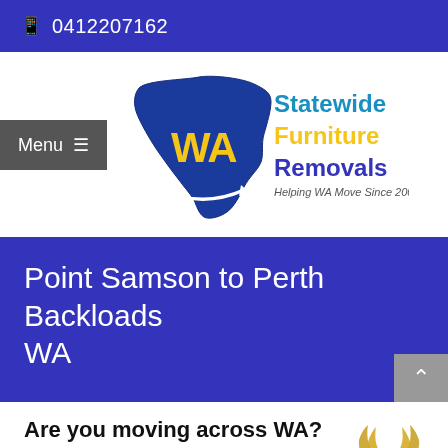0412207162
[Figure (logo): Statewide Furniture Removals logo with WA map shape in blue and yellow, text 'Statewide Furniture Removals' and tagline 'Helping WA Move Since 2001']
Point Samson to Perth Backloads WA
Are you moving across WA?